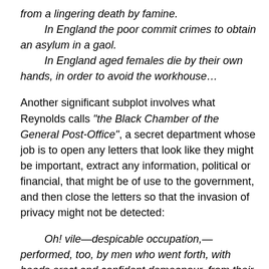from a lingering death by famine.
In England the poor commit crimes to obtain an asylum in a gaol.
In England aged females die by their own hands, in order to avoid the workhouse…
Another significant subplot involves what Reynolds calls “the Black Chamber of the General Post-Office”, a secret department whose job is to open any letters that look like they might be important, extract any information, political or financial, that might be of use to the government, and then close the letters so that the invasion of privacy might not be detected:
Oh! vile—despicable occupation,—performed, too, by men who went forth, with heads erect and confident demeanour, from their atrocious employment—after